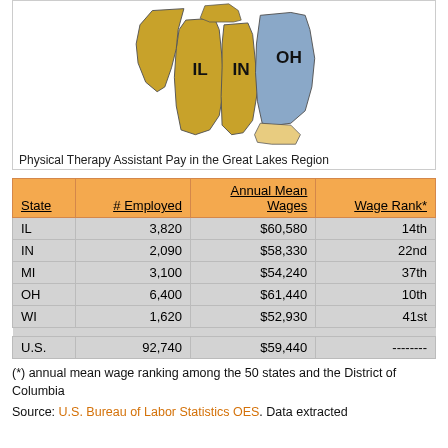[Figure (map): Map showing Great Lakes region states (IL, IN, OH, MI, WI) with states colored in gold/orange and blue tones]
Physical Therapy Assistant Pay in the Great Lakes Region
| State | # Employed | Annual Mean Wages | Wage Rank* |
| --- | --- | --- | --- |
| IL | 3,820 | $60,580 | 14th |
| IN | 2,090 | $58,330 | 22nd |
| MI | 3,100 | $54,240 | 37th |
| OH | 6,400 | $61,440 | 10th |
| WI | 1,620 | $52,930 | 41st |
| U.S. | 92,740 | $59,440 | -------- |
(*) annual mean wage ranking among the 50 states and the District of Columbia
Source: U.S. Bureau of Labor Statistics OES. Data extracted